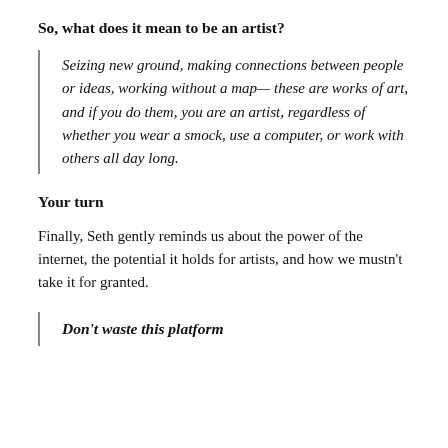So, what does it mean to be an artist?
Seizing new ground, making connections between people or ideas, working without a map— these are works of art, and if you do them, you are an artist, regardless of whether you wear a smock, use a computer, or work with others all day long.
Your turn
Finally, Seth gently reminds us about the power of the internet, the potential it holds for artists, and how we mustn't take it for granted.
Don't waste this platform